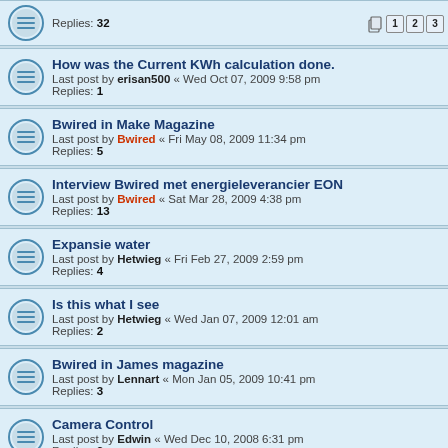Replies: 32 [pagination: 1 2 3]
How was the Current KWh calculation done. Last post by erisan500 « Wed Oct 07, 2009 9:58 pm Replies: 1
Bwired in Make Magazine Last post by Bwired « Fri May 08, 2009 11:34 pm Replies: 5
Interview Bwired met energieleverancier EON Last post by Bwired « Sat Mar 28, 2009 4:38 pm Replies: 13
Expansie water Last post by Hetwieg « Fri Feb 27, 2009 2:59 pm Replies: 4
Is this what I see Last post by Hetwieg « Wed Jan 07, 2009 12:01 am Replies: 2
Bwired in James magazine Last post by Lennart « Mon Jan 05, 2009 10:41 pm Replies: 3
Camera Control Last post by Edwin « Wed Dec 10, 2008 6:31 pm Replies: 2
Changing the power supply for Harrison rail Last post by Bwired « Sat Nov 29, 2008 8:54 pm Replies: 7
Letter from a fan! Last post by Bwired « Sat Nov 29, 2008 2:09 am